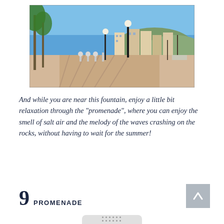[Figure (photo): A sunny promenade with palm trees lining a wide pedestrian walkway. Street lamps, ornamental bollards, and a marina with sailboats are visible in the background, with apartment buildings and a hillside beyond.]
And while you are near this fountain, enjoy a little bit relaxation through the "promenade", where you can enjoy the smell of salt air and the melody of the waves crashing on the rocks, without having to wait for the summer!
9 PROMENADE